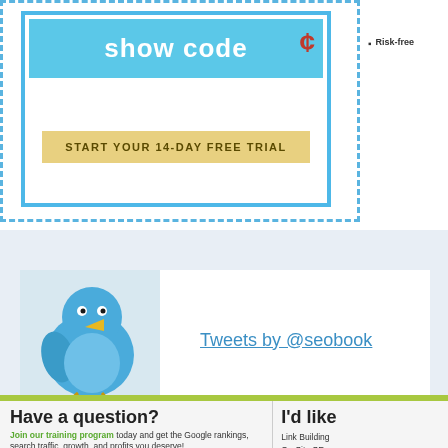[Figure (screenshot): Show code promotional box with dashed blue border, showing 'show code' button in blue and 'START YOUR 14-DAY FREE TRIAL' button in gold/yellow]
Risk-free
[Figure (illustration): Twitter bird mascot illustration in blue color with yellow beak]
Tweets by @seobook
Have a question?
Join our training program today and get the Google rankings, search traffic, growth, and profits you deserve!
I'd like
Link Building
On-Site SE
Keyword R